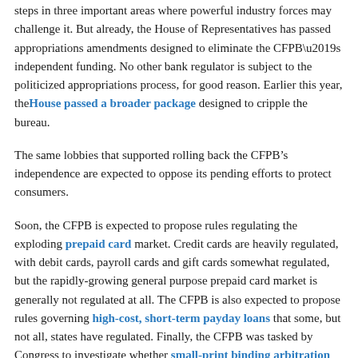steps in three important areas where powerful industry forces may challenge it. But already, the House of Representatives has passed appropriations amendments designed to eliminate the CFPB’s independent funding. No other bank regulator is subject to the politicized appropriations process, for good reason. Earlier this year, the House passed a broader package designed to cripple the bureau.
The same lobbies that supported rolling back the CFPB’s independence are expected to oppose its pending efforts to protect consumers.
Soon, the CFPB is expected to propose rules regulating the exploding prepaid card market. Credit cards are heavily regulated, with debit cards, payroll cards and gift cards somewhat regulated, but the rapidly-growing general purpose prepaid card market is generally not regulated at all. The CFPB is also expected to propose rules governing high-cost, short-term payday loans that some, but not all, states have regulated. Finally, the CFPB was tasked by Congress to investigate whether small-print binding arbitration clauses in “take-it-or-